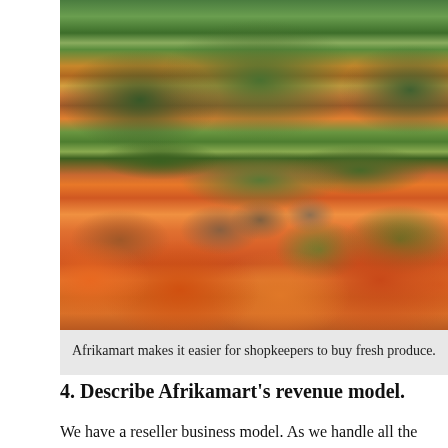[Figure (photo): Outdoor African market stall with abundant colorful fresh produce including mangoes, tomatoes, avocados, and other fruits and vegetables. Several people visible shopping and tending the stall. Bananas hanging overhead.]
Afrikamart makes it easier for shopkeepers to buy fresh produce.
4. Describe Afrikamart's revenue model.
We have a reseller business model. As we handle all the logistics from end to end, we add a margin on top of our suppliers' prices. We work with customers who place recurring orders, from once to six times per week.